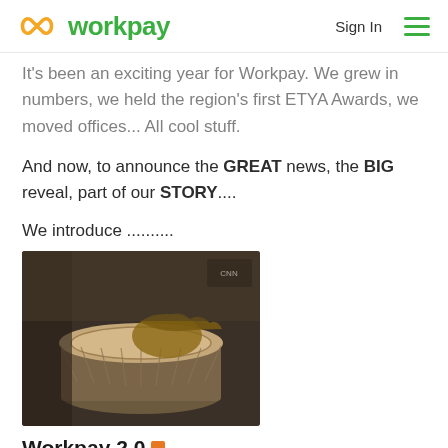workpay — Sign In
It's been an exciting year for Workpay. We grew in numbers, we held the region's first ETYA Awards, we moved offices... All cool stuff.
And now, to announce the GREAT news, the BIG reveal, part of our STORY....
We introduce ..........
[Figure (photo): A person's hand playing or resting on an African djembe drum, photographed indoors.]
Workpay 2.0